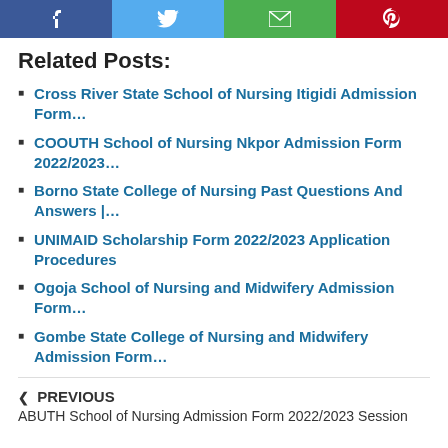[Figure (other): Social media sharing bar with Facebook, Twitter, Email, and Pinterest buttons]
Related Posts:
Cross River State School of Nursing Itigidi Admission Form…
COOUTH School of Nursing Nkpor Admission Form 2022/2023…
Borno State College of Nursing Past Questions And Answers |…
UNIMAID Scholarship Form 2022/2023 Application Procedures
Ogoja School of Nursing and Midwifery Admission Form…
Gombe State College of Nursing and Midwifery Admission Form…
❮ PREVIOUS
ABUTH School of Nursing Admission Form 2022/2023 Session